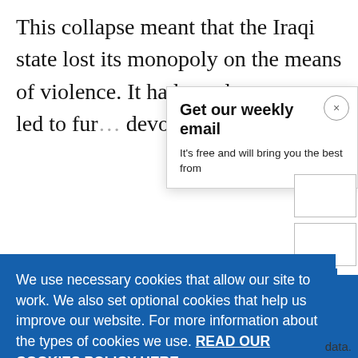This collapse meant that the Iraqi state lost its monopoly on the means of violence. It had to rely on m... led to fur... devolutio...
Get our weekly email
It's free and will bring you the best from
We use necessary cookies that allow our site to work. We also set optional cookies that help us improve our website. For more information about the types of cookies we use. READ OUR COOKIES POLICY HERE
COOKIE SETTINGS
ALLOW ALL COOKIES
data.